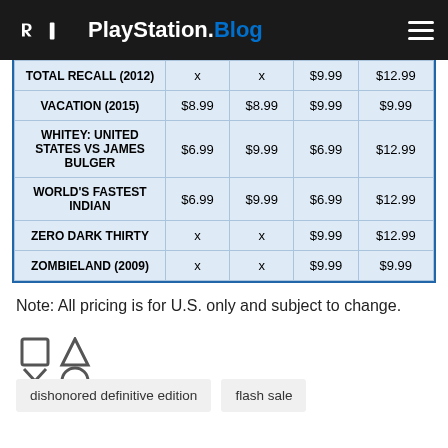PlayStation.Blog
| Title | Col1 | Col2 | Col3 | Col4 |
| --- | --- | --- | --- | --- |
| TOTAL RECALL (2012) | x | x | $9.99 | $12.99 |
| VACATION (2015) | $8.99 | $8.99 | $9.99 | $9.99 |
| WHITEY: UNITED STATES VS JAMES BULGER | $6.99 | $9.99 | $6.99 | $12.99 |
| WORLD'S FASTEST INDIAN | $6.99 | $9.99 | $6.99 | $12.99 |
| ZERO DARK THIRTY | x | x | $9.99 | $12.99 |
| ZOMBIELAND (2009) | x | x | $9.99 | $9.99 |
Note: All pricing is for U.S. only and subject to change.
[Figure (logo): PlayStation controller button symbols (square, triangle, cross, circle)]
dishonored definitive edition   flash sale